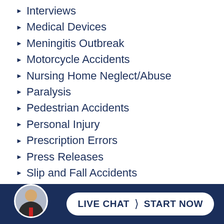Interviews
Medical Devices
Meningitis Outbreak
Motorcycle Accidents
Nursing Home Neglect/Abuse
Paralysis
Pedestrian Accidents
Personal Injury
Prescription Errors
Press Releases
Slip and Fall Accidents
Swimming Accidents
Tire Failures
Truck Accidents
Uninsured Motorist Claims
Unsafe… (partially visible)
[Figure (photo): Circular avatar photo of a man in a dark suit with red tie]
LIVE CHAT  START NOW